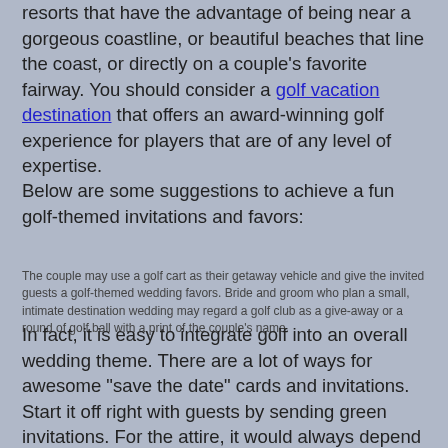resorts that have the advantage of being near a gorgeous coastline, or beautiful beaches that line the coast, or directly on a couple's favorite fairway. You should consider a golf vacation destination that offers an award-winning golf experience for players that are of any level of expertise.
Below are some suggestions to achieve a fun golf-themed invitations and favors:
The couple may use a golf cart as their getaway vehicle and give the invited guests a golf-themed wedding favors. Bride and groom who plan a small, intimate destination wedding may regard a golf club as a give-away or a round of golf ball with a print of the couple's name.
In fact, it is easy to integrate golf into an overall wedding theme. There are a lot of ways for awesome "save the date" cards and invitations. Start it off right with guests by sending green invitations. For the attire, it would always depend on the theme of the wedding. For this occasion, attire may be eccentric or delicate. The bride might want to wear a traditional white dress with a touch of some green accents in her dress and bouquet. For her soon-to-be husband, a matching green tie would be very fitting as well. Dresses in a vibrant shade of green for bridesmaids add some golf-